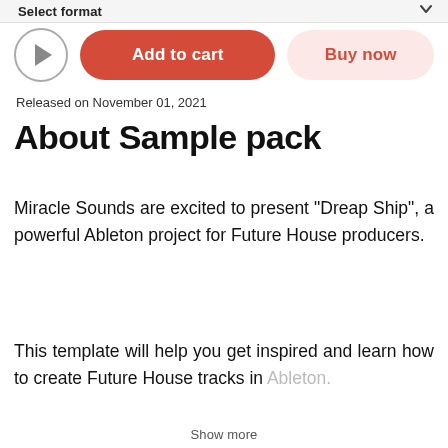Select format
Released on November 01, 2021
About Sample pack
Miracle Sounds are excited to present "Dreap Ship", a powerful Ableton project for Future House producers.
This template will help you get inspired and learn how to create Future House tracks in Ableton.
Show more